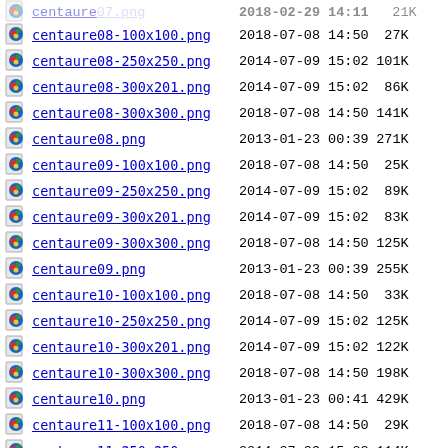| icon | filename | date | time | size |
| --- | --- | --- | --- | --- |
| [img] | centaure08-100x100.png | 2018-07-08 | 14:50 | 27K |
| [img] | centaure08-250x250.png | 2014-07-09 | 15:02 | 101K |
| [img] | centaure08-300x201.png | 2014-07-09 | 15:02 | 86K |
| [img] | centaure08-300x300.png | 2018-07-08 | 14:50 | 141K |
| [img] | centaure08.png | 2013-01-23 | 00:39 | 271K |
| [img] | centaure09-100x100.png | 2018-07-08 | 14:50 | 25K |
| [img] | centaure09-250x250.png | 2014-07-09 | 15:02 | 89K |
| [img] | centaure09-300x201.png | 2014-07-09 | 15:02 | 83K |
| [img] | centaure09-300x300.png | 2018-07-08 | 14:50 | 125K |
| [img] | centaure09.png | 2013-01-23 | 00:39 | 255K |
| [img] | centaure10-100x100.png | 2018-07-08 | 14:50 | 33K |
| [img] | centaure10-250x250.png | 2014-07-09 | 15:02 | 125K |
| [img] | centaure10-300x201.png | 2014-07-09 | 15:02 | 122K |
| [img] | centaure10-300x300.png | 2018-07-08 | 14:50 | 198K |
| [img] | centaure10.png | 2013-01-23 | 00:41 | 429K |
| [img] | centaure11-100x100.png | 2018-07-08 | 14:50 | 29K |
| [img] | centaure11-250x250.png | 2014-07-09 | 15:02 | 114K |